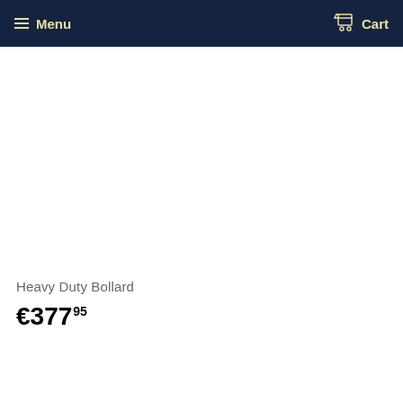Menu  Cart
Heavy Duty Bollard
€377.95